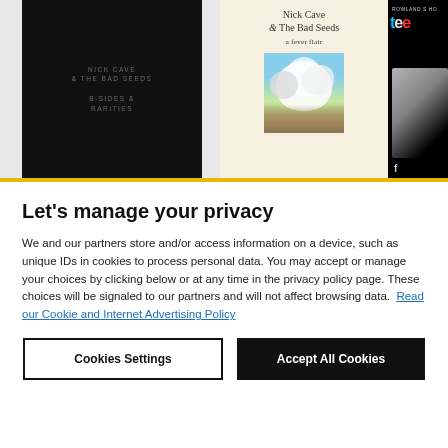[Figure (photo): Three album covers side by side: 1) Nick Cave & The Bad Seeds - B-Sides & Rarities (black cover with grey text), 2) Nick Cave & The Bad Seeds - a fever flair (cream/off-white cover with floral image), 3) Rowland S. Howard - Tee (partial black cover with coloured lettering)]
Let's manage your privacy
We and our partners store and/or access information on a device, such as unique IDs in cookies to process personal data. You may accept or manage your choices by clicking below or at any time in the privacy policy page. These choices will be signaled to our partners and will not affect browsing data. Read our Cookie and Internet Advertising Policy
Cookies Settings
Accept All Cookies